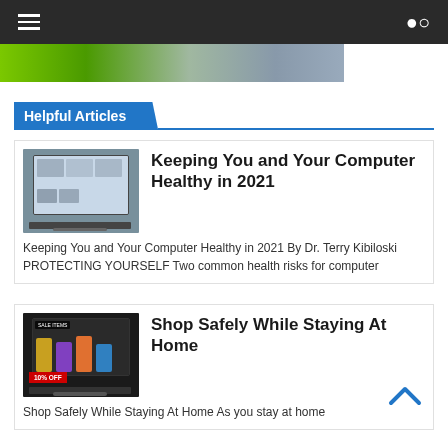Navigation bar with hamburger menu and search icon
[Figure (photo): Partial hero/banner image showing green and grey tones, partially cropped]
Helpful Articles
[Figure (photo): Thumbnail of person using a laptop computer]
Keeping You and Your Computer Healthy in 2021
Keeping You and Your Computer Healthy in 2021 By Dr. Terry Kibiloski PROTECTING YOURSELF Two common health risks for computer
[Figure (photo): Thumbnail of laptop showing shoes on sale with 10% OFF label]
Shop Safely While Staying At Home
Shop Safely While Staying At Home As you stay at home